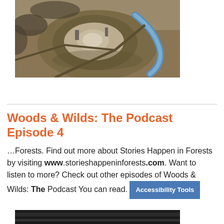[Figure (photo): Aerial photograph of an open-pit mine or industrial site with circular structure, a curved blue waterway or canal, bare earth, and industrial equipment visible from above.]
Woods & Wilds: The Podcast Episode 4
…Forests. Find out more about Stories Happen in Forests by visiting www.storieshappeninforests.com. Want to listen to more? Check out other episodes of Woods & Wilds: The Podcast You can read.
[Figure (photo): Bottom portion of another aerial or outdoor photograph, dark toned.]